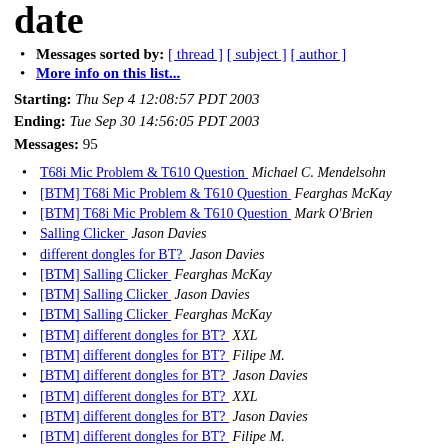date
Messages sorted by: [ thread ] [ subject ] [ author ]
More info on this list...
Starting: Thu Sep 4 12:08:57 PDT 2003
Ending: Tue Sep 30 14:56:05 PDT 2003
Messages: 95
T68i Mic Problem & T610 Question   Michael C. Mendelsohn
[BTM] T68i Mic Problem & T610 Question   Fearghas McKay
[BTM] T68i Mic Problem & T610 Question   Mark O'Brien
Salling Clicker   Jason Davies
different dongles for BT?   Jason Davies
[BTM] Salling Clicker   Fearghas McKay
[BTM] Salling Clicker   Jason Davies
[BTM] Salling Clicker   Fearghas McKay
[BTM] different dongles for BT?   XXL
[BTM] different dongles for BT?   Filipe M.
[BTM] different dongles for BT?   Jason Davies
[BTM] different dongles for BT?   XXL
[BTM] different dongles for BT?   Jason Davies
[BTM] different dongles for BT?   Filipe M.